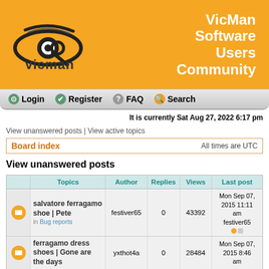[Figure (logo): VicMan imaging software logo on orange banner with text 'VicMan Software Users Community']
Login   Register   FAQ   Search
It is currently Sat Aug 27, 2022 6:17 pm
View unanswered posts | View active topics
Board index   All times are UTC
View unanswered posts
|  | Topics | Author | Replies | Views | Last post |
| --- | --- | --- | --- | --- | --- |
| [icon] | salvatore ferragamo shoe | Pete
in Bug reports | festiver65 | 0 | 43392 | Mon Sep 07, 2015 11:11 am
festiver65 |
| [icon] | ferragamo dress shoes | Gone are the days | yxthot4a | 0 | 28484 | Mon Sep 07, 2015 8:46 am |